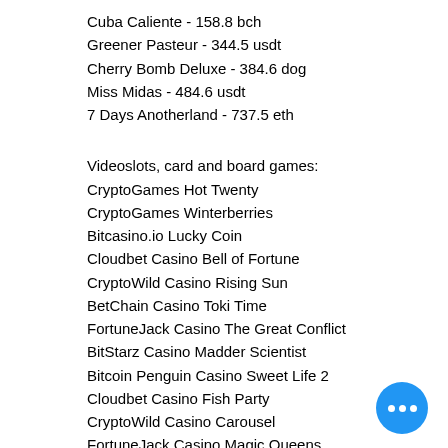Cuba Caliente - 158.8 bch
Greener Pasteur - 344.5 usdt
Cherry Bomb Deluxe - 384.6 dog
Miss Midas - 484.6 usdt
7 Days Anotherland - 737.5 eth
Videoslots, card and board games:
CryptoGames Hot Twenty
CryptoGames Winterberries
Bitcasino.io Lucky Coin
Cloudbet Casino Bell of Fortune
CryptoWild Casino Rising Sun
BetChain Casino Toki Time
FortuneJack Casino The Great Conflict
BitStarz Casino Madder Scientist
Bitcoin Penguin Casino Sweet Life 2
Cloudbet Casino Fish Party
CryptoWild Casino Carousel
FortuneJack Casino Magic Queens
Cloudbet Casino Persian Nights